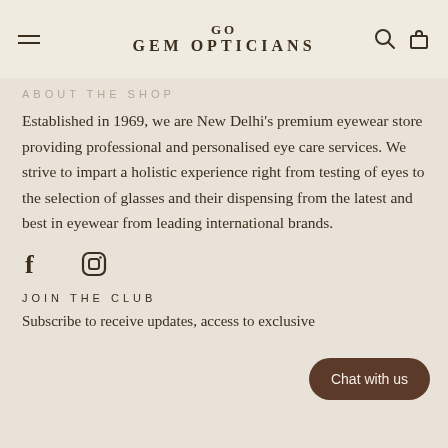GO GEM OPTICIANS
ABOUT THE SHOP
Established in 1969, we are New Delhi's premium eyewear store providing professional and personalised eye care services. We strive to impart a holistic experience right from testing of eyes to the selection of glasses and their dispensing from the latest and best in eyewear from leading international brands.
[Figure (other): Social media icons: Facebook (f) and Instagram (circle with inner square)]
JOIN THE CLUB
Subscribe to receive updates, access to exclusive